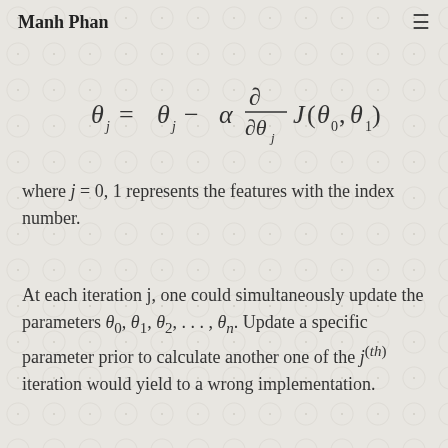Manh Phan
where j = 0, 1 represents the features with the index number.
At each iteration j, one could simultaneously update the parameters θ₀, θ₁, θ₂, …, θₙ. Update a specific parameter prior to calculate another one of the j^(th) iteration would yield to a wrong implementation.